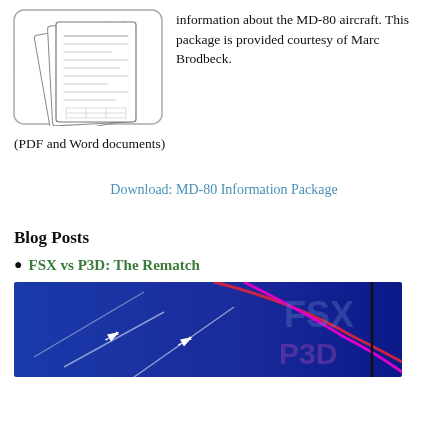[Figure (illustration): Sketch-style illustration of documents/papers representing MD-80 information package]
information about the MD-80 aircraft. This package is provided courtesy of Marc Brodbeck.
(PDF and Word documents)
Download: MD-80 Information Package
Blog Posts
FSX vs P3D: The Rematch
[Figure (screenshot): Banner image with blue background showing airplane contrails and FSX/P3D text with red and magenta lines]